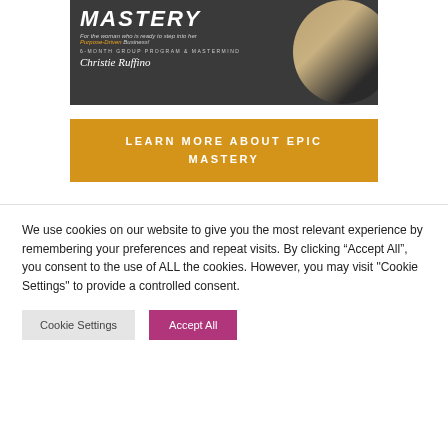[Figure (photo): Epic Mastery promotional banner with woman in tan jacket and dark background, script signature reading Christie Ruffino]
LEARN MORE ABOUT EPIC MASTERY
We use cookies on our website to give you the most relevant experience by remembering your preferences and repeat visits. By clicking “Accept All”, you consent to the use of ALL the cookies. However, you may visit "Cookie Settings" to provide a controlled consent.
Cookie Settings
Accept All